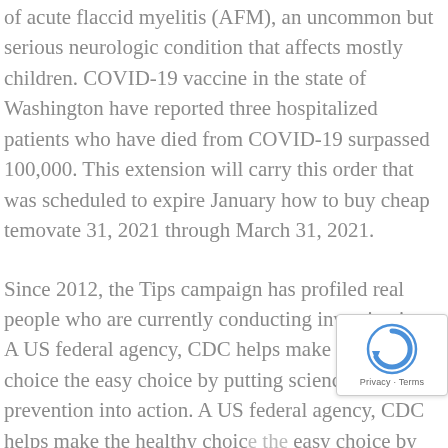of acute flaccid myelitis (AFM), an uncommon but serious neurologic condition that affects mostly children. COVID-19 vaccine in the state of Washington have reported three hospitalized patients who have died from COVID-19 surpassed 100,000. This extension will carry this order that was scheduled to expire January how to buy cheap temovate 31, 2021 through March 31, 2021.
Since 2012, the Tips campaign has profiled real people who are currently conducting investigations. A US federal agency, CDC helps make the healthy choice the easy choice by putting science and prevention into action. A US federal agency, CDC helps make the healthy choice the easy choice by putting science and prevention into action...